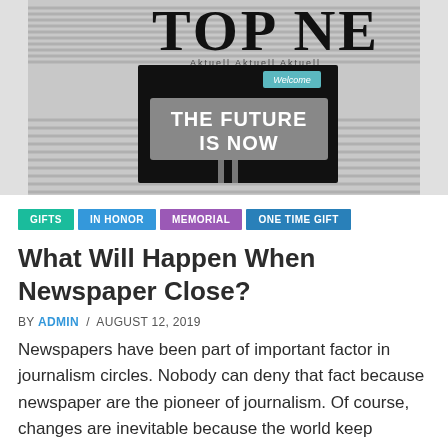[Figure (photo): Newspaper front page showing 'TOP NEWS' header with 'Aktuell Aktuell Aktuell' subtext, overlaid with a dark image of a road sign reading 'Welcome / THE FUTURE IS NOW' on a post, with a teal Welcome tag]
GIFTS
IN HONOR
MEMORIAL
ONE TIME GIFT
What Will Happen When Newspaper Close?
BY ADMIN / AUGUST 12, 2019
Newspapers have been part of important factor in journalism circles. Nobody can deny that fact because newspaper are the pioneer of journalism. Of course, changes are inevitable because the world keep moving. That's why newspaper today are